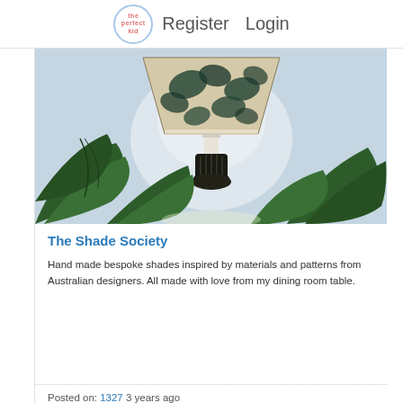The Perfect Kid | Register  Login
[Figure (photo): A decorative lamp with a tropical leaf-patterned shade (dark blue and cream tones) sitting above a sculptural dark base, surrounded by large green tropical leaves against a light blue-grey background.]
The Shade Society
Hand made bespoke shades inspired by materials and patterns from Australian designers. All made with love from my dining room table.
Posted on: 1327 3 years ago